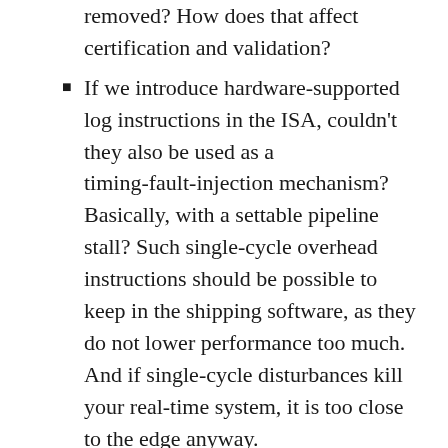removed? How does that affect certification and validation?
If we introduce hardware-supported log instructions in the ISA, couldn't they also be used as a timing-fault-injection mechanism? Basically, with a settable pipeline stall? Such single-cycle overhead instructions should be possible to keep in the shipping software, as they do not lower performance too much. And if single-cycle disturbances kill your real-time system, it is too close to the edge anyway.
One idea that I threw out but that met very little agreement from the S4D and FDL